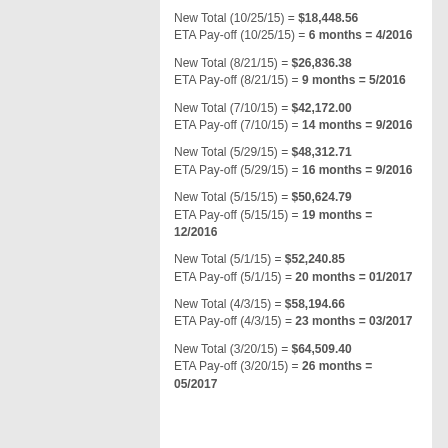New Total (10/25/15) = $18,448.56
ETA Pay-off (10/25/15) = 6 months = 4/2016
New Total (8/21/15) = $26,836.38
ETA Pay-off (8/21/15) = 9 months = 5/2016
New Total (7/10/15) = $42,172.00
ETA Pay-off (7/10/15) = 14 months = 9/2016
New Total (5/29/15) = $48,312.71
ETA Pay-off (5/29/15) = 16 months = 9/2016
New Total (5/15/15) = $50,624.79
ETA Pay-off (5/15/15) = 19 months = 12/2016
New Total (5/1/15) = $52,240.85
ETA Pay-off (5/1/15) = 20 months = 01/2017
New Total (4/3/15) = $58,194.66
ETA Pay-off (4/3/15) = 23 months = 03/2017
New Total (3/20/15) = $64,509.40
ETA Pay-off (3/20/15) = 26 months = 05/2017